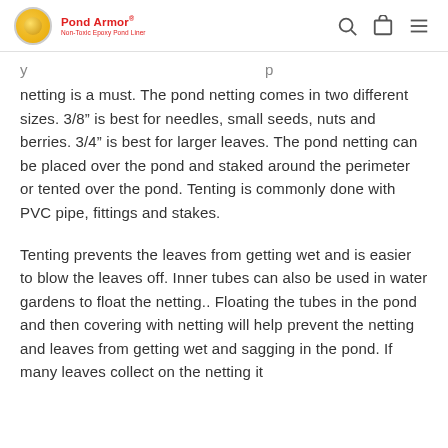Pond Armor
netting is a must. The pond netting comes in two different sizes. 3/8" is best for needles, small seeds, nuts and berries. 3/4" is best for larger leaves. The pond netting can be placed over the pond and staked around the perimeter or tented over the pond. Tenting is commonly done with PVC pipe, fittings and stakes.
Tenting prevents the leaves from getting wet and is easier to blow the leaves off. Inner tubes can also be used in water gardens to float the netting.. Floating the tubes in the pond and then covering with netting will help prevent the netting and leaves from getting wet and sagging in the pond. If many leaves collect on the netting it